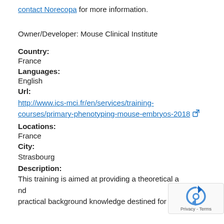contact Norecopa for more information.
Owner/Developer: Mouse Clinical Institute
Country:
France
Languages:
English
Url:
http://www.ics-mci.fr/en/services/training-courses/primary-phenotyping-mouse-embryos-2018
Locations:
France
City:
Strasbourg
Description:
This training is aimed at providing a theoretical and practical background knowledge destined for